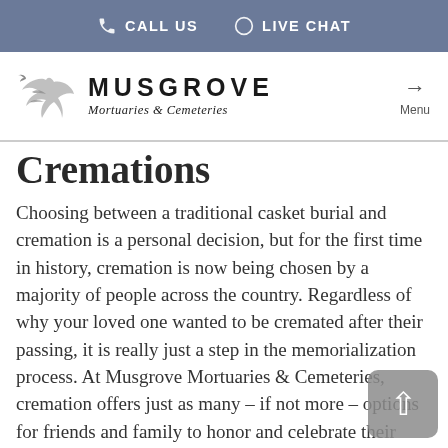📞 CALL US   💬 LIVE CHAT
[Figure (logo): Musgrove Mortuaries & Cemeteries logo with bird silhouette]
Cremations
Choosing between a traditional casket burial and cremation is a personal decision, but for the first time in history, cremation is now being chosen by a majority of people across the country. Regardless of why your loved one wanted to be cremated after their passing, it is really just a step in the memorialization process. At Musgrove Mortuaries & Cemeteries, cremation offers just as many – if not more – options for friends and family to honor and celebrate their loved one's life.